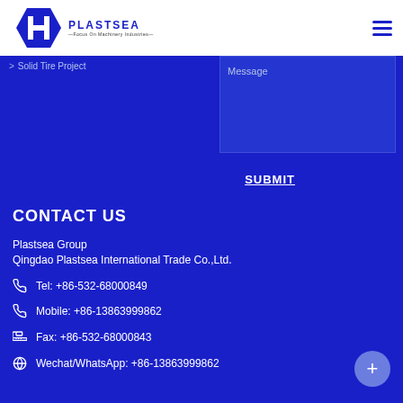PLASTSEA — Focus On Machinery Industries
> Solid Tire Project
Message
SUBMIT
CONTACT US
Plastsea Group
Qingdao Plastsea International Trade Co.,Ltd.
Tel: +86-532-68000849
Mobile: +86-13863999862
Fax: +86-532-68000843
Wechat/WhatsApp: +86-13863999862